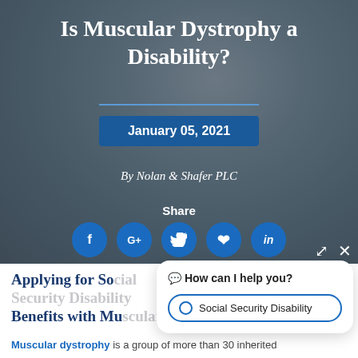[Figure (photo): Background photo of a person in a wheelchair with another person, overlaid with dark semi-transparent filter. Contains article title, date badge, byline, share label, and social media icons.]
Is Muscular Dystrophy a Disability?
January 05, 2021
By Nolan & Shafer PLC
Share
Applying for Social Security Disability Benefits with Mu...
Muscular dystrophy is a group of more than 30 inherited
🔲 How can I help you?
Social Security Disability